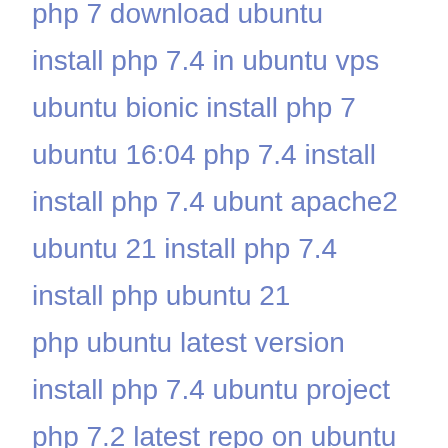php 7 download ubuntu
install php 7.4 in ubuntu vps
ubuntu bionic install php 7
ubuntu 16:04 php 7.4 install
install php 7.4 ubunt apache2
ubuntu 21 install php 7.4
install php ubuntu 21
php ubuntu latest version
install php 7.4 ubuntu project
php 7.2 latest repo on ubuntu 18.04
ubuntu install php7.4-intl ubuntu
install all php7.4
ubunutu install php4
lamp php 7.4